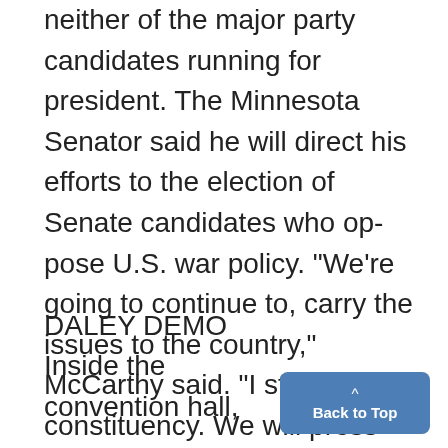neither of the major party candidates running for president. The Minnesota Senator said he will direct his efforts to the election of Senate candidates who oppose U.S. war policy. "We're going to continue to, carry the issues to the country," McCarthy said. "I still have a constituency. We will press forward to demilitarize American foreign policy."
DALEY DEMO
Inside the convention hall,